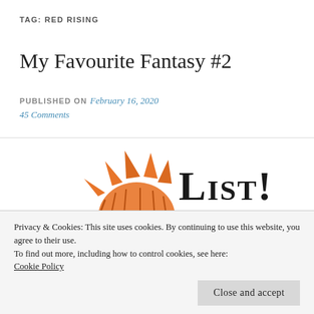TAG: RED RISING
My Favourite Fantasy #2
PUBLISHED ON February 16, 2020
45 Comments
[Figure (illustration): Hand-drawn illustration of a cartoon character with orange/red spiky hair reading a book, with the word 'LIST!' in bold sketchy lettering above]
Privacy & Cookies: This site uses cookies. By continuing to use this website, you agree to their use.
To find out more, including how to control cookies, see here:
Cookie Policy
Close and accept